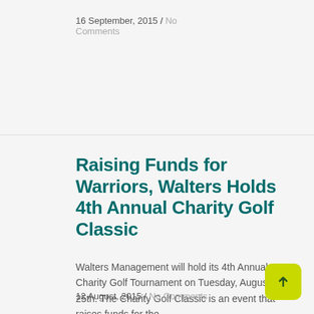16 September, 2015 / No Comments
Raising Funds for Warriors, Walters Holds 4th Annual Charity Golf Classic
Walters Management will hold its 4th Annual Charity Golf Tournament on Tuesday, August 25th. The Charity Golf Classic is an event that raises funds for the
12 August, 2015 / No Comments